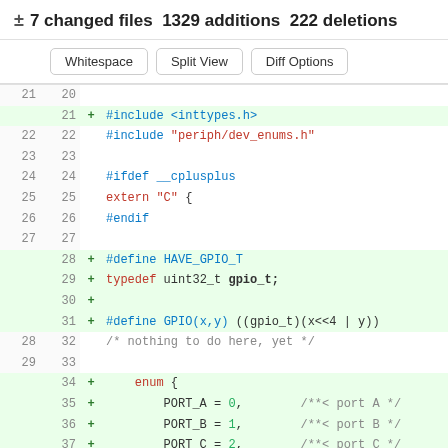± 7 changed files  1329 additions  222 deletions
Buttons: Whitespace | Split View | Diff Options
[Figure (screenshot): Code diff view showing lines 21-37 of a C header file with additions for #include <inttypes.h>, #define HAVE_GPIO_T, typedef uint32_t gpio_t, #define GPIO(x,y), and enum with PORT_A, PORT_B, PORT_C entries.]